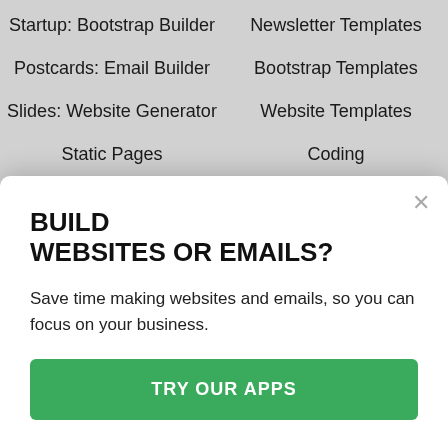Startup: Bootstrap Builder
Newsletter Templates
Postcards: Email Builder
Bootstrap Templates
Slides: Website Generator
Website Templates
Static Pages
Coding
Affiliate Program
Design
Help Articles
Inspiration
BUILD
WEBSITES OR EMAILS?
Save time making websites and emails, so you can focus on your business.
TRY OUR APPS